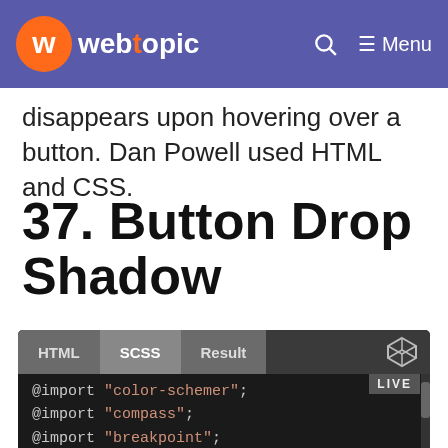webtopic — Menu
disappears upon hovering over a button. Dan Powell used HTML and CSS.
37. Button Drop Shadow
[Figure (screenshot): Code editor panel with tabs HTML, SCSS, Result and a CodePen icon. The SCSS tab is active. Code shown: @import "color-schemer"; @import "compass"; @import "breakpoint"; @import "susy"; with a LIVE badge.]